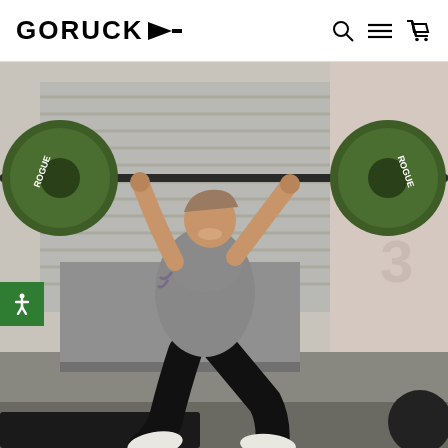GORUCK
[Figure (photo): A woman wearing a gray t-shirt and black leggings lifts a barbell with green Rogue weight plates overhead while jumping. She is wearing white sneakers and is photographed outdoors against a corrugated metal wall background.]